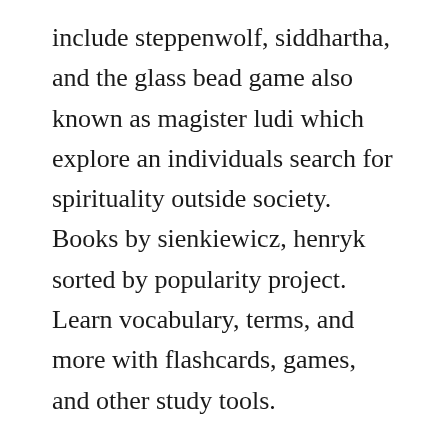include steppenwolf, siddhartha, and the glass bead game also known as magister ludi which explore an individuals search for spirituality outside society. Books by sienkiewicz, henryk sorted by popularity project. Learn vocabulary, terms, and more with flashcards, games, and other study tools.
Can you guess which first edition cover the image above comes from. Hermann hesse is currently considered a single author. Father hesse videosaudios treasures that might be lost. Siddhartha goes through a series of